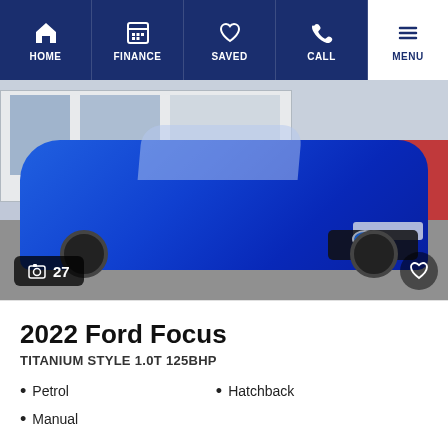HOME | FINANCE | SAVED | CALL | MENU
[Figure (photo): Blue Ford Focus hatchback parked outside a dealership. Photo count badge showing camera icon and '27'. Heart/save button in bottom right corner.]
2022 Ford Focus
TITANIUM STYLE 1.0T 125BHP
Petrol
Hatchback
Manual